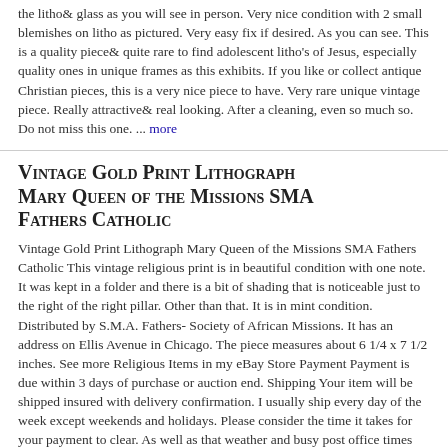the litho& glass as you will see in person. Very nice condition with 2 small blemishes on litho as pictured. Very easy fix if desired. As you can see. This is a quality piece& quite rare to find adolescent litho's of Jesus, especially quality ones in unique frames as this exhibits. If you like or collect antique Christian pieces, this is a very nice piece to have. Very rare unique vintage piece. Really attractive& real looking. After a cleaning, even so much so. Do not miss this one. ... more
Vintage Gold Print Lithograph Mary Queen of the Missions SMA Fathers Catholic
Vintage Gold Print Lithograph Mary Queen of the Missions SMA Fathers Catholic This vintage religious print is in beautiful condition with one note. It was kept in a folder and there is a bit of shading that is noticeable just to the right of the right pillar. Other than that. It is in mint condition. Distributed by S.M.A. Fathers- Society of African Missions. It has an address on Ellis Avenue in Chicago. The piece measures about 6 1/4 x 7 1/2 inches. See more Religious Items in my eBay Store Payment Payment is due within 3 days of purchase or auction end. Shipping Your item will be shipped insured with delivery confirmation. I usually ship every day of the week except weekends and holidays. Please consider the time it takes for your payment to clear. As well as that weather and busy post office times can affect the delivery time. About Me ... more
Antique 1942 Lithograph Print of Jesus by McConnell 'Inspiration' Wooden Frame
Antique 1942 Lithograph of Jesus by McConnell'Inspiration' Wooden Frame Copyright symbol and SR Co. 1942 Signed print of